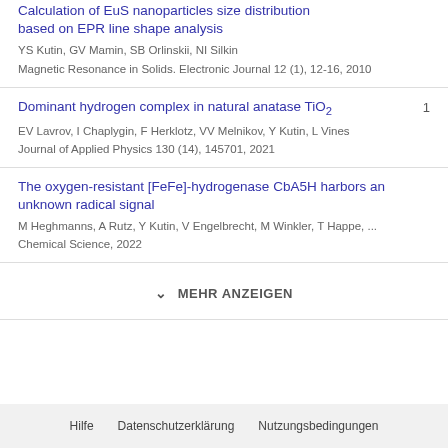Calculation of EuS nanoparticles size distribution based on EPR line shape analysis
YS Kutin, GV Mamin, SB Orlinskii, NI Silkin
Magnetic Resonance in Solids. Electronic Journal 12 (1), 12-16, 2010
Dominant hydrogen complex in natural anatase TiO2
EV Lavrov, I Chaplygin, F Herklotz, VV Melnikov, Y Kutin, L Vines
Journal of Applied Physics 130 (14), 145701, 2021
Citations: 1
The oxygen-resistant [FeFe]-hydrogenase CbA5H harbors an unknown radical signal
M Heghmanns, A Rutz, Y Kutin, V Engelbrecht, M Winkler, T Happe, ...
Chemical Science, 2022
MEHR ANZEIGEN
Hilfe   Datenschutzerklärung   Nutzungsbedingungen